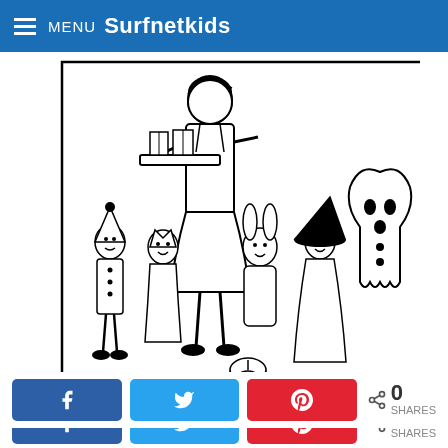MENU Surfnetkids
[Figure (illustration): Black and white line drawing coloring page showing a group of children in Halloween costumes trick-or-treating with an adult. Costumes include a witch, a ghost, a clown, and others. An adult holds a tray with treats. A jack-o-lantern is visible at the bottom.]
0 SHARES (Facebook, Twitter, Pinterest share buttons)
You Might Also Like These Coloring Pages:
Halloween
October
Dracula Boy